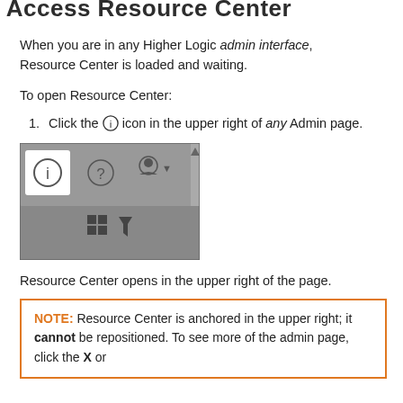Access Resource Center
When you are in any Higher Logic admin interface, Resource Center is loaded and waiting.
To open Resource Center:
Click the ⓘ icon in the upper right of any Admin page.
[Figure (screenshot): Screenshot of the Higher Logic admin interface toolbar showing the info (ⓘ), help (?), and user icons, with a grid and filter icon below. The ⓘ icon is highlighted with a white background.]
Resource Center opens in the upper right of the page.
NOTE: Resource Center is anchored in the upper right; it cannot be repositioned. To see more of the admin page, click the X or